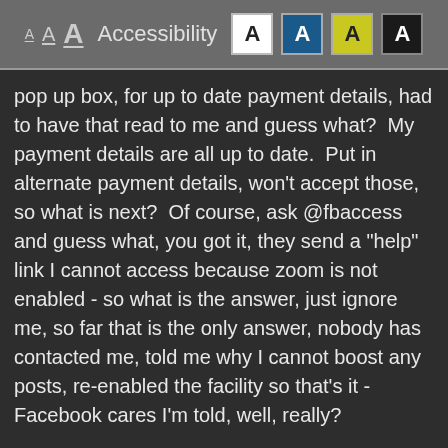[Figure (screenshot): Accessibility toolbar header with font size buttons and contrast options labeled A in various sizes and styles, with text 'Accessibility' and four letter A buttons in boxes with different color backgrounds (white, blue/teal, yellow-green, dark/black).]
pop up box, for up to date payment details, had to have that read to me and guess what?  My payment details are all up to date.  Put in alternate payment details, won't accept those, so what is next?  Of course, ask @fbaccess and guess what, you got it, they send a "help" link I cannot access because zoom is not enabled - so what is the answer, just ignore me, so far that is the only answer, nobody has contacted me, told me why I cannot boost any posts, re-enabled the facility so that's it - Facebook cares I'm told, well, really?
Is this really satisfactory accessibility from one of the